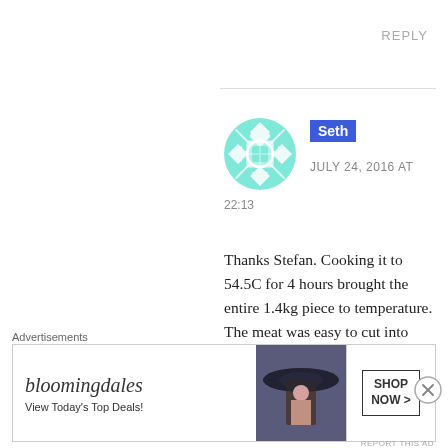REPLY
Seth
JULY 24, 2016 AT
22:13
Thanks Stefan. Cooking it to 54.5C for 4 hours brought the entire 1.4kg piece to temperature. The meat was easy to cut into individual
Advertisements
[Figure (illustration): Bloomingdales advertisement banner with logo, 'View Today's Top Deals!' tagline, woman in hat, and SHOP NOW button]